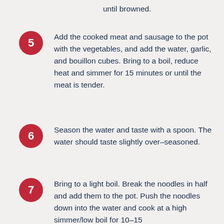until browned.
5. Add the cooked meat and sausage to the pot with the vegetables, and add the water, garlic, and bouillon cubes. Bring to a boil, reduce heat and simmer for 15 minutes or until the meat is tender.
6. Season the water and taste with a spoon. The water should taste slightly over-seasoned.
7. Bring to a light boil. Break the noodles in half and add them to the pot. Push the noodles down into the water and cook at a high simmer/low boil for 10–15